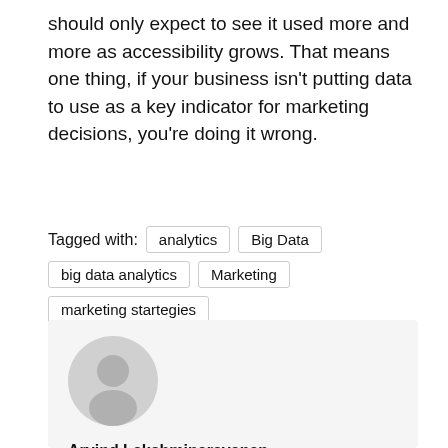should only expect to see it used more and more as accessibility grows. That means one thing, if your business isn't putting data to use as a key indicator for marketing decisions, you're doing it wrong.
Tagged with: analytics Big Data big data analytics Marketing marketing startegies
Arvind Lakshminarayanan
Arvind is the editor-in-chief of Big Data Made Simple. He is also a content specialist at Crayon Data.